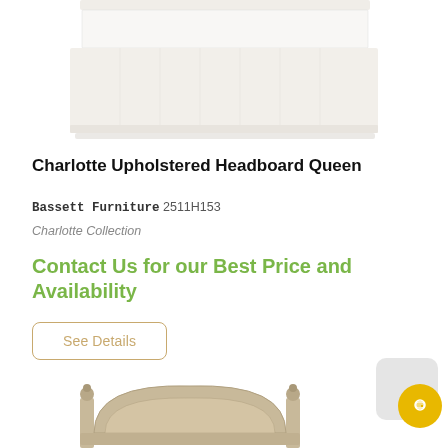[Figure (photo): Top portion of a white upholstered queen bed frame showing the platform base and bed skirt against a white background]
Charlotte Upholstered Headboard Queen
Bassett Furniture 2511H153
Charlotte Collection
Contact Us for our Best Price and Availability
See Details
[Figure (photo): Bottom portion showing a wooden headboard with decorative finials in a light antique finish]